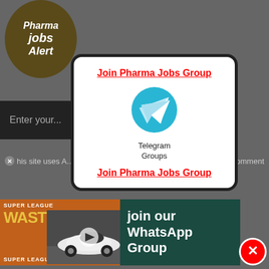[Figure (screenshot): Website screenshot showing a Pharma Jobs Alert page with a modal popup overlay. The modal contains 'Join Pharma Jobs Group' links with a Telegram Groups icon. Background shows partial website elements including an input bar and cookie notice. At the bottom are ads: a Super League WASTE ad and a WhatsApp Group join ad, with a red close button.]
Pharma jobs Alert
Join Pharma Jobs Group
Telegram Groups
Join Pharma Jobs Group
Enter your...
his site uses A... comment
SUPER LEAGUE
WASTE
SUPER LEAGUE
Join our WhatsApp Group